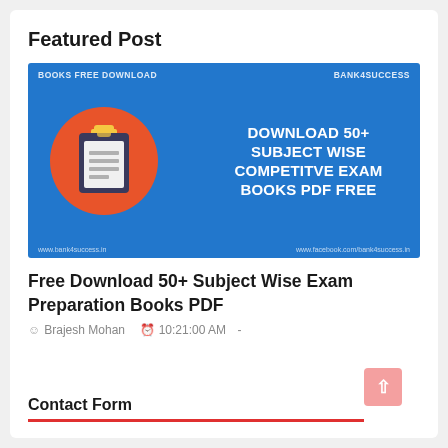Featured Post
[Figure (illustration): Blue promotional banner with orange circle containing a clipboard icon, and bold white text reading 'DOWNLOAD 50+ SUBJECT WISE COMPETITVE EXAM BOOKS PDF FREE'. Top left says 'BOOKS FREE DOWNLOAD', top right says 'BANK4SUCCESS'.]
Free Download 50+ Subject Wise Exam Preparation Books PDF
Brajesh Mohan   10:21:00 AM  -
Contact Form